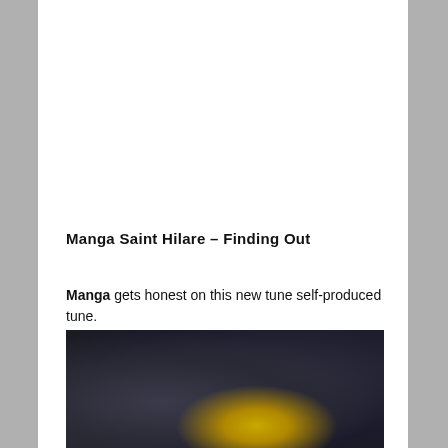Manga Saint Hilare – Finding Out
Manga gets honest on this new tune self-produced tune.
[Figure (photo): Dark, moody photograph with cloudy background and a yellow flower or yellow object visible at the bottom center of the frame.]